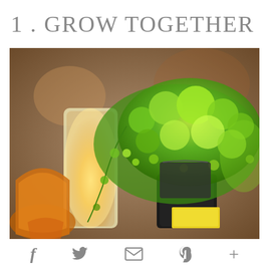1 . GROW TOGETHER
[Figure (photo): Close-up photo of a lush green trailing plant (maidenhair fern or similar small-leafed vine) cascading over a glass container with a glowing yellow candle inside, warm amber/orange glassware in the foreground left, dark background with warm bokeh. A yellow book or card is partially visible at the bottom center.]
f  ✦  +